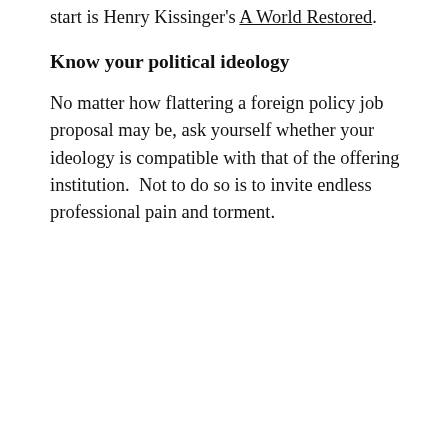start is Henry Kissinger's A World Restored.
Know your political ideology
No matter how flattering a foreign policy job proposal may be, ask yourself whether your ideology is compatible with that of the offering institution.  Not to do so is to invite endless professional pain and torment.